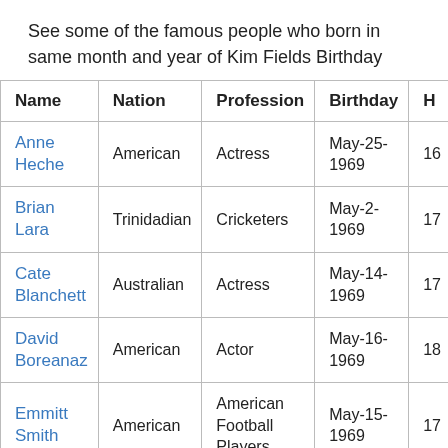See some of the famous people who born in same month and year of Kim Fields Birthday
| Name | Nation | Profession | Birthday | H |
| --- | --- | --- | --- | --- |
| Anne Heche | American | Actress | May-25-1969 | 16 |
| Brian Lara | Trinidadian | Cricketers | May-2-1969 | 17 |
| Cate Blanchett | Australian | Actress | May-14-1969 | 17 |
| David Boreanaz | American | Actor | May-16-1969 | 18 |
| Emmitt Smith | American | American Football Players | May-15-1969 | 17 |